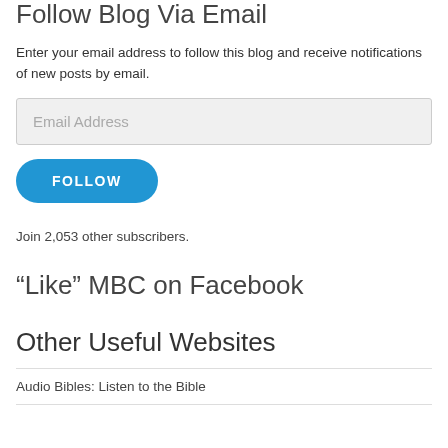Follow Blog Via Email
Enter your email address to follow this blog and receive notifications of new posts by email.
Email Address
FOLLOW
Join 2,053 other subscribers.
“Like” MBC on Facebook
Other Useful Websites
Audio Bibles: Listen to the Bible